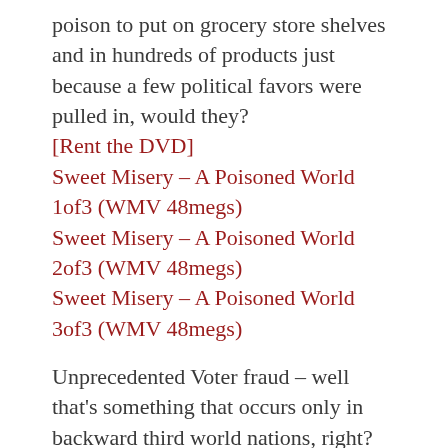poison to put on grocery store shelves and in hundreds of products just because a few political favors were pulled in, would they?
[Rent the DVD]
Sweet Misery – A Poisoned World 1of3 (WMV 48megs)
Sweet Misery – A Poisoned World 2of3 (WMV 48megs)
Sweet Misery – A Poisoned World 3of3 (WMV 48megs)
Unprecedented Voter fraud – well that's something that occurs only in backward third world nations, right? The evidence presented by this documentary about the 2000 US presidential elections should make you